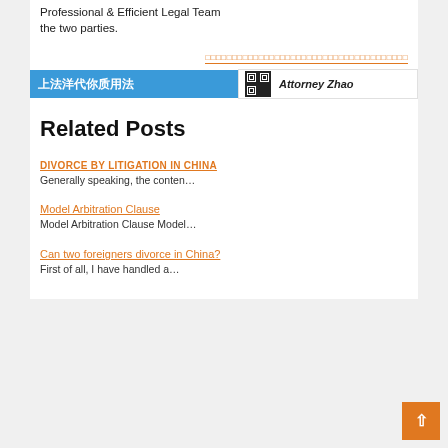the two parties.
[Figure (other): Orange text link with underline decoration, right-aligned, followed by a banner with Chinese text on blue background and a QR code with 'Attorney Zhao' text]
Related Posts
DIVORCE BY LITIGATION IN CHINA
Generally speaking, the conten…
Model Arbitration Clause
Model Arbitration Clause Model…
Can two foreigners divorce in China?
First of all, I have handled a…